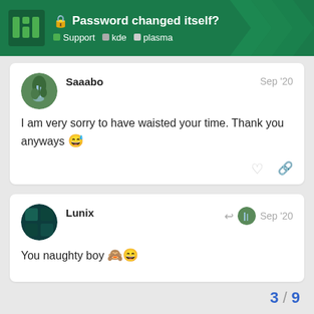Password changed? | Support kde plasma
Saaabo — Sep '20
I am very sorry to have waisted your time. Thank you anyways 😅
Lunix — Sep '20
You naughty boy 🙈😄
3 / 9